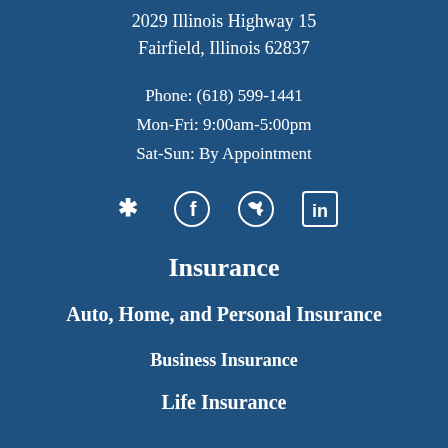2029 Illinois Highway 15
Fairfield, Illinois 62837
Phone: (618) 599-1441
Mon-Fri: 9:00am-5:00pm
Sat-Sun: By Appointment
[Figure (illustration): Social media icons row: Yelp, Facebook, Twitter, LinkedIn]
Insurance
Auto, Home, and Personal Insurance
Business Insurance
Life Insurance